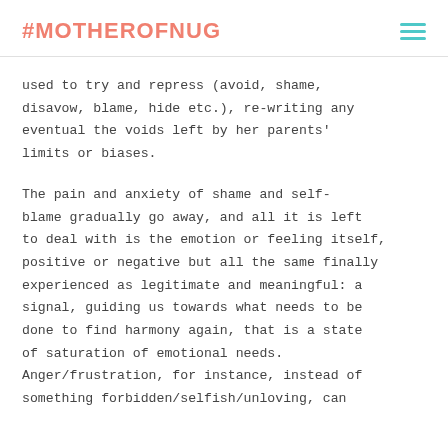#MOTHEROFNUG
used to try and repress (avoid, shame, disavow, blame, hide etc.), re-writing any eventual the voids left by her parents' limits or biases.
The pain and anxiety of shame and self-blame gradually go away, and all it is left to deal with is the emotion or feeling itself, positive or negative but all the same finally experienced as legitimate and meaningful: a signal, guiding us towards what needs to be done to find harmony again, that is a state of saturation of emotional needs. Anger/frustration, for instance, instead of something forbidden/selfish/unloving, can